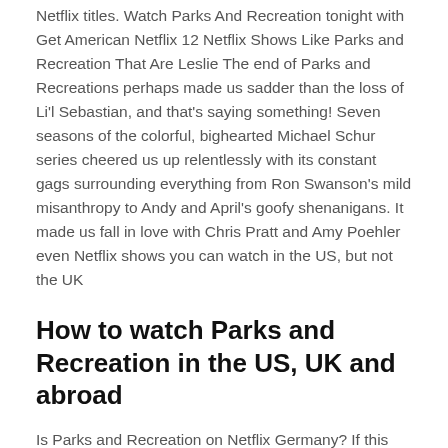Netflix titles. Watch Parks And Recreation tonight with Get American Netflix 12 Netflix Shows Like Parks and Recreation That Are Leslie The end of Parks and Recreations perhaps made us sadder than the loss of Li'l Sebastian, and that's saying something! Seven seasons of the colorful, bighearted Michael Schur series cheered us up relentlessly with its constant gags surrounding everything from Ron Swanson's mild misanthropy to Andy and April's goofy shenanigans. It made us fall in love with Chris Pratt and Amy Poehler even Netflix shows you can watch in the US, but not the UK
How to watch Parks and Recreation in the US, UK and abroad
Is Parks and Recreation on Netflix Germany? If this title is available in the USA, Canada, UK, Netherlands, or Germany, but isn't available in your country, you can use get-american-netflix.com to watch it tonight! It works from anywhere